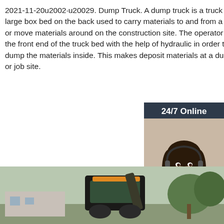2021-11-20u2002·u20029. Dump Truck. A dump truck is a truck with a large box bed on the back used to carry materials to and from a job site or move materials around on the construction site. The operator can lift the front end of the truck bed with the help of hydraulic in order to dump the materials inside. This makes deposit materials at a dump site or job site.
[Figure (other): Advertisement widget showing a customer service representative wearing a headset, with a dark navy background, '24/7 Online' header, 'Click here for free chat!' text, and an orange QUOTATION button.]
Get Price
[Figure (photo): Bottom strip showing a partial photo of a large construction vehicle (dump truck or excavator) in a yard with trees in the background.]